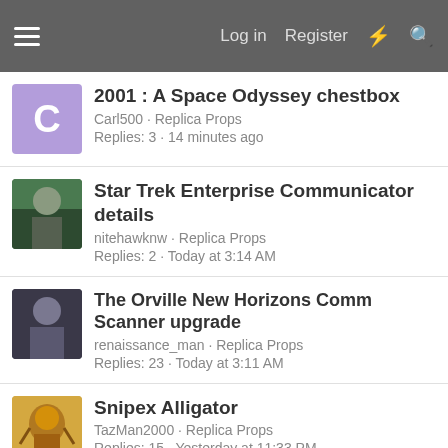Log in  Register
2001 : A Space Odyssey chestbox
Carl500 · Replica Props
Replies: 3 · 14 minutes ago
Star Trek Enterprise Communicator details
nitehawknw · Replica Props
Replies: 2 · Today at 3:14 AM
The Orville New Horizons Comm Scanner upgrade
renaissance_man · Replica Props
Replies: 23 · Today at 3:11 AM
Snipex Alligator
TazMan2000 · Replica Props
Replies: 15 · Yesterday at 11:33 PM
Share: